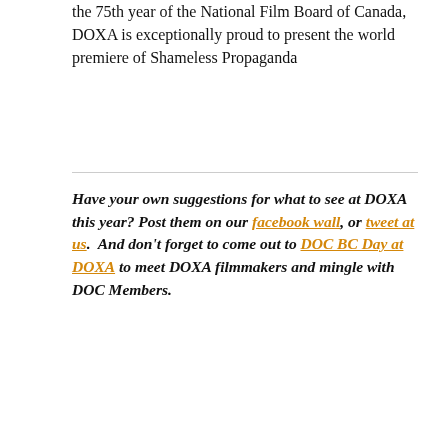the 75th year of the National Film Board of Canada, DOXA is exceptionally proud to present the world premiere of Shameless Propaganda
Have your own suggestions for what to see at DOXA this year? Post them on our facebook wall, or tweet at us.  And don't forget to come out to DOC BC Day at DOXA to meet DOXA filmmakers and mingle with DOC Members.
DOC BC  /  May 1, 2014  /  Blog  /  documentary, DOXA, Film Festivals  /  Leave a comment
DOXA Documentary Film